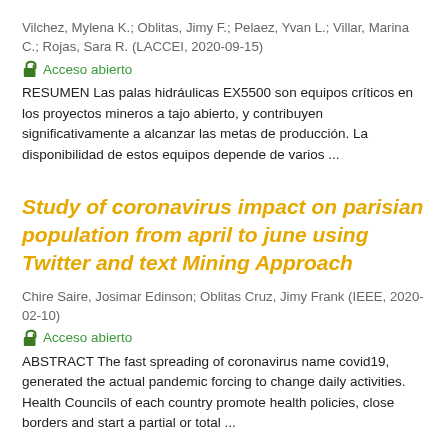Vilchez, Mylena K.; Oblitas, Jimy F.; Pelaez, Yvan L.; Villar, Marina C.; Rojas, Sara R. (LACCEI, 2020-09-15)
🔓 Acceso abierto
RESUMEN Las palas hidráulicas EX5500 son equipos críticos en los proyectos mineros a tajo abierto, y contribuyen significativamente a alcanzar las metas de producción. La disponibilidad de estos equipos depende de varios ...
Study of coronavirus impact on parisian population from april to june using Twitter and text Mining Approach
Chire Saire, Josimar Edinson; Oblitas Cruz, Jimy Frank (IEEE, 2020-02-10)
🔓 Acceso abierto
ABSTRACT The fast spreading of coronavirus name covid19, generated the actual pandemic forcing to change daily activities. Health Councils of each country promote health policies, close borders and start a partial or total ...